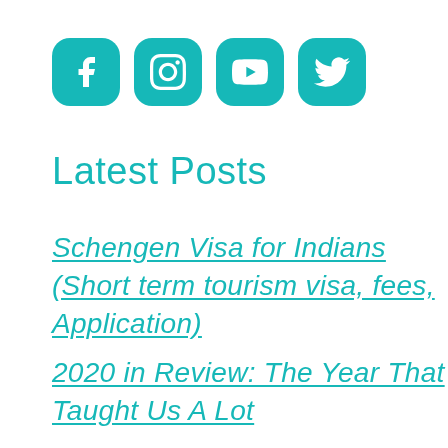[Figure (other): Four teal rounded square social media icon buttons: Facebook, Instagram, YouTube, Twitter]
Latest Posts
Schengen Visa for Indians (Short term tourism visa, fees, Application)
2020 in Review: The Year That Taught Us A Lot